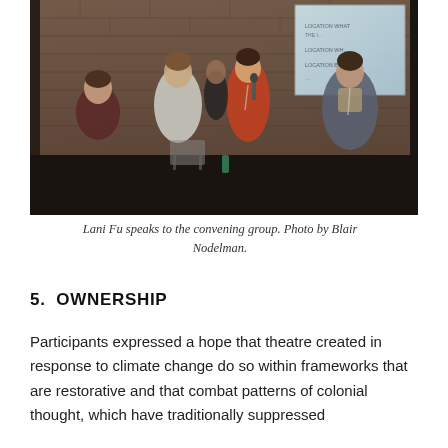[Figure (photo): A woman in an orange jacket speaks into a microphone while standing with a group of people in front of a brick wall. A projection screen is visible in the background. Several other participants stand around her.]
Lani Fu speaks to the convening group. Photo by Blair Nodelman.
5.  OWNERSHIP
Participants expressed a hope that theatre created in response to climate change do so within frameworks that are restorative and that combat patterns of colonial thought, which have traditionally suppressed